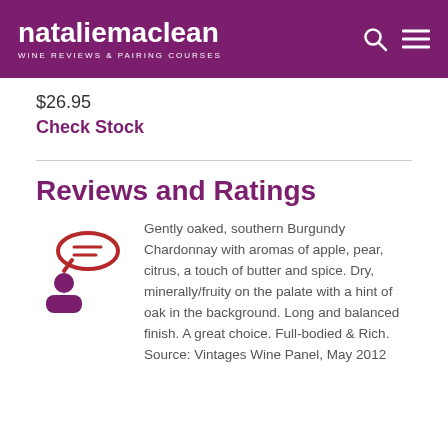nataliemaclean WINE REVIEWS & PAIRING COURSES
$26.95
Check Stock
Reviews and Ratings
[Figure (illustration): Icon of a person with a speech bubble, in purple/maroon color]
Gently oaked, southern Burgundy Chardonnay with aromas of apple, pear, citrus, a touch of butter and spice. Dry, minerally/fruity on the palate with a hint of oak in the background. Long and balanced finish. A great choice. Full-bodied & Rich. Source: Vintages Wine Panel, May 2012